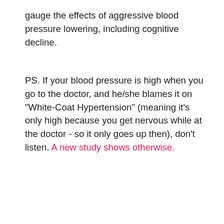gauge the effects of aggressive blood pressure lowering, including cognitive decline.
PS. If your blood pressure is high when you go to the doctor, and he/she blames it on "White-Coat Hypertension" (meaning it's only high because you get nervous while at the doctor - so it only goes up then), don't listen. A new study shows otherwise.